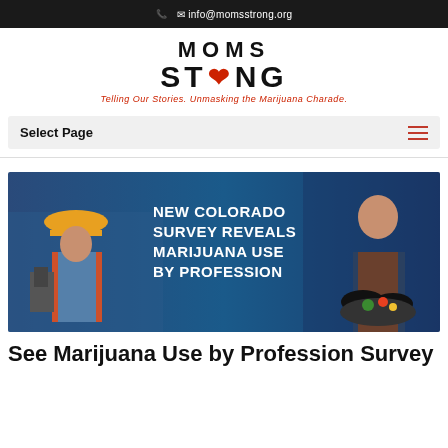info@momsstrong.org
[Figure (logo): Moms Strong logo with broken heart icon and red tagline: Telling Our Stories. Unmasking the Marijuana Charade.]
Select Page
[Figure (photo): Banner image showing two workers (construction worker with hard hat and chef) with text: NEW COLORADO SURVEY REVEALS MARIJUANA USE BY PROFESSION]
See Marijuana Use by Profession Survey